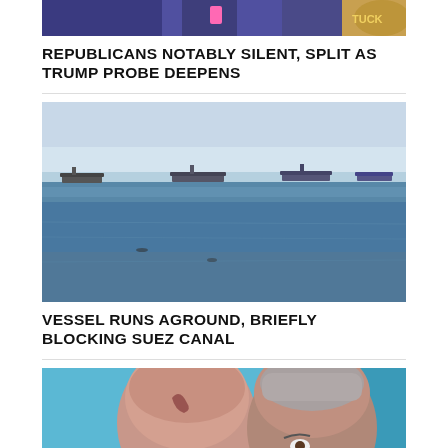[Figure (photo): Top portion of a person at a podium with Kentucky seal, holding a pink object]
REPUBLICANS NOTABLY SILENT, SPLIT AS TRUMP PROBE DEEPENS
[Figure (photo): Ships in a wide waterway, the Suez Canal, with hazy sky]
VESSEL RUNS AGROUND, BRIEFLY BLOCKING SUEZ CANAL
[Figure (photo): Two older men in profile facing each other, one bald with a birthmark, the other with grey hair, against blue background with text]